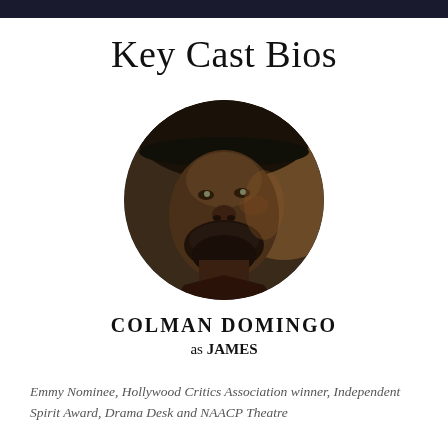Key Cast Bios
[Figure (photo): Circular portrait photo of Colman Domingo, a man wearing a hat, looking upward, with dramatic lighting.]
COLMAN DOMINGO
as JAMES
Emmy Nominee, Hollywood Critics Association winner, Independent Spirit Award, Drama Desk and NAACP Theatre